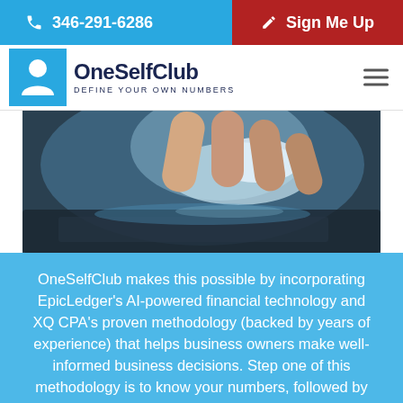346-291-6286 | Sign Me Up
[Figure (logo): OneSelfClub logo with person icon and tagline DEFINE YOUR OWN NUMBERS]
[Figure (photo): Close-up photo of fingers touching a tablet or touchscreen device with blue-tinted lighting]
OneSelfClub makes this possible by incorporating EpicLedger's AI-powered financial technology and XQ CPA's proven methodology (backed by years of experience) that helps business owners make well-informed business decisions. Step one of this methodology is to know your numbers, followed by understanding your financial position. The